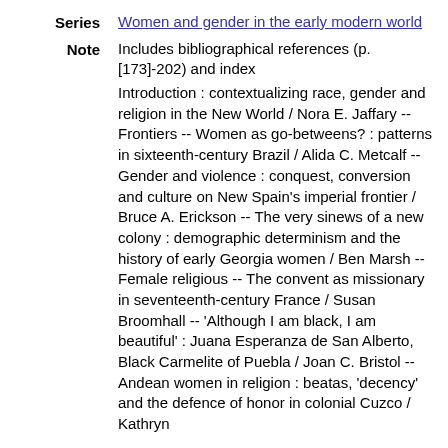Series: Women and gender in the early modern world
Note: Includes bibliographical references (p. [173]-202) and index Introduction : contextualizing race, gender and religion in the New World / Nora E. Jaffary -- Frontiers -- Women as go-betweens? : patterns in sixteenth-century Brazil / Alida C. Metcalf -- Gender and violence : conquest, conversion and culture on New Spain’s imperial frontier / Bruce A. Erickson -- The very sinews of a new colony : demographic determinism and the history of early Georgia women / Ben Marsh -- Female religious -- The convent as missionary in seventeenth-century France / Susan Broomhall -- ‘Although I am black, I am beautiful’ : Juana Esperanza de San Alberto, Black Carmelite of Puebla / Joan C. Bristol -- Andean women in religion : beatas, ‘decency’ and the defence of honor in colonial Cuzco / Kathryn